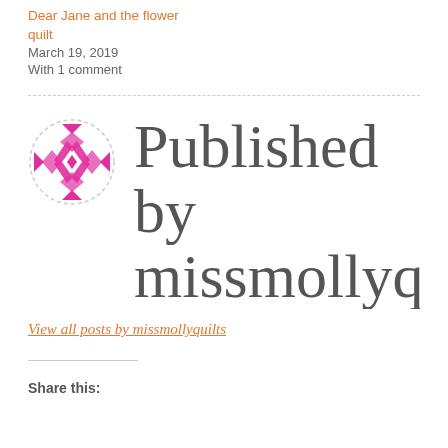Dear Jane and the flower quilt
March 19, 2019
With 1 comment
[Figure (logo): Circular dashed-border logo with pink/magenta geometric quilt pattern on white background]
Published by missmollyqu
View all posts by missmollyquilts
Share this: